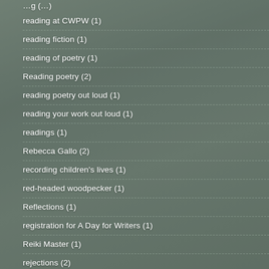reading at CWPW (1)
reading fiction (1)
reading of poetry (1)
Reading poetry (2)
reading poetry out loud (1)
reading your work out loud (1)
readings (1)
Rebecca Gallo (2)
recording children's lives (1)
red-headed woodpecker (1)
Reflections (1)
registration for A Day for Writers (1)
Reiki Master (1)
rejections (2)
rejections slips (1)
relationship issues (1)
relief of pain (1)
Renaissance Rebecca (1)